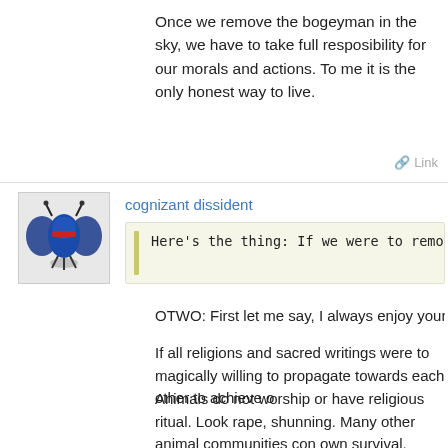Once we remove the bogeyman in the sky, we have to take full resposibility for our morals and actions. To me it is the only honest way to live.
Link
cognizant dissident
Here's the thing: If we were to remove
OTWO: First let me say, I always enjoy your well-tho
If all religions and sacred writings were to magically willing to propagate towards each other to achieve o
Animals do not worship or have religious ritual. Look rape, shunning. Many other animal communities con own survival.